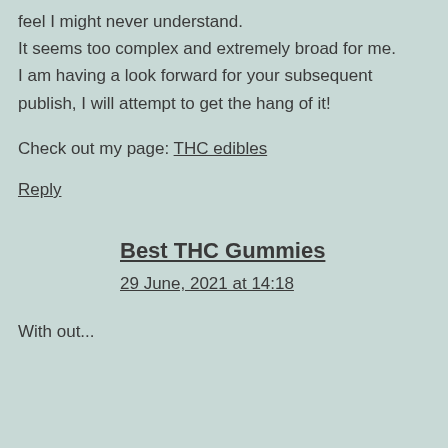feel I might never understand. It seems too complex and extremely broad for me. I am having a look forward for your subsequent publish, I will attempt to get the hang of it!
Check out my page: THC edibles
Reply
Best THC Gummies
29 June, 2021 at 14:18
With out...